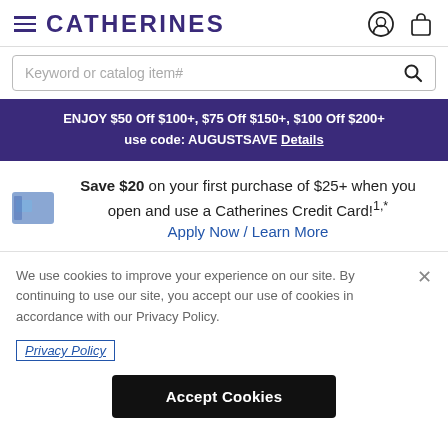CATHERINES
Keyword or catalog item#
ENJOY $50 Off $100+, $75 Off $150+, $100 Off $200+ use code: AUGUSTSAVE Details
Save $20 on your first purchase of $25+ when you open and use a Catherines Credit Card!1,* Apply Now / Learn More
We use cookies to improve your experience on our site. By continuing to use our site, you accept our use of cookies in accordance with our Privacy Policy.
Privacy Policy
Accept Cookies